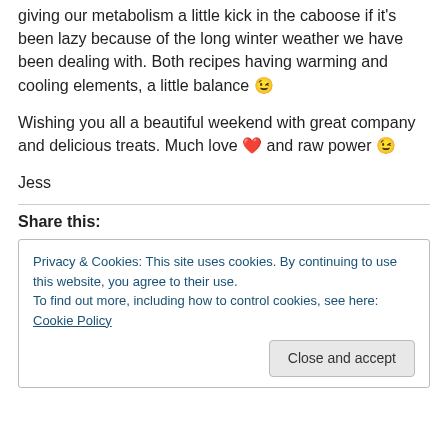giving our metabolism a little kick in the caboose if it's been lazy because of the long winter weather we have been dealing with. Both recipes having warming and cooling elements, a little balance 😉
Wishing you all a beautiful weekend with great company and delicious treats. Much love ❤️ and raw power 😉
Jess
Share this:
Privacy & Cookies: This site uses cookies. By continuing to use this website, you agree to their use. To find out more, including how to control cookies, see here: Cookie Policy